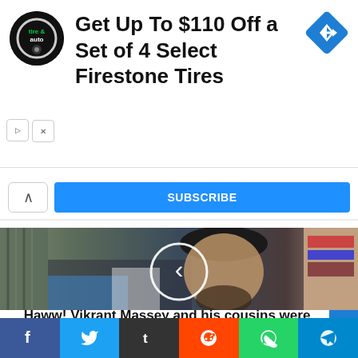[Figure (infographic): Advertisement banner: tire and auto logo circle, text 'Get Up To $110 Off a Set of 4 Select Firestone Tires', blue diamond direction sign icon on right]
[Figure (photo): Photo of Vikrant Massey, a man wearing a suit, with a circular navigation arrow overlay in the center]
Haww! Vikrant Massey and his cousins were once caught watching an adult film by his aunt; here's
[Figure (infographic): Social media sharing bar with Facebook, Twitter, Tumblr, Reddit, WhatsApp, and Telegram buttons]